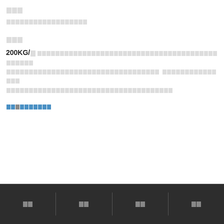[CJK characters]
[CJK characters - subtitle/description]
[CJK characters]
200KG/[unit] [CJK text paragraph describing content]
[CJK link text]
[CJK footer navigation items]